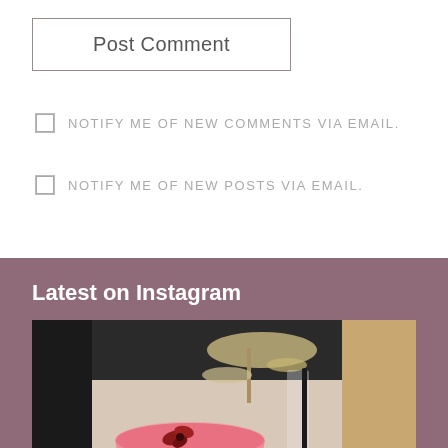Post Comment
NOTIFY ME OF NEW COMMENTS VIA EMAIL.
NOTIFY ME OF NEW POSTS VIA EMAIL.
Latest on Instagram
[Figure (photo): Photo of a red/pink cocktail in a wide-rimmed glass with a flower garnish on top, alongside glassware and dried floral decor on a restaurant table]